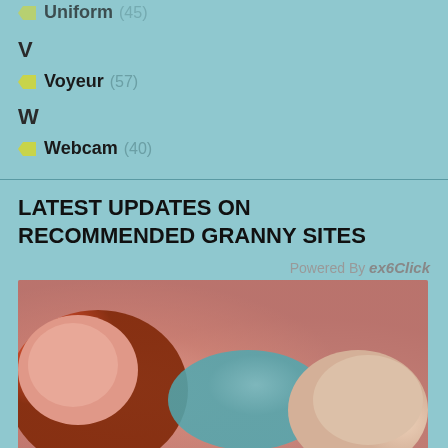Uniform (45)
V
Voyeur (57)
W
Webcam (40)
LATEST UPDATES ON RECOMMENDED GRANNY SITES
Powered By exoClick
[Figure (illustration): Animated/cartoon style illustration of two female figures in an adult context]